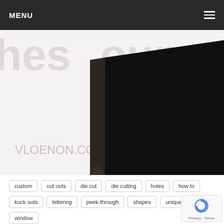MENU
[Figure (photo): Close-up photo of dark/black hardcover book or notebook at an angle, showing spine and pages, with partially visible text in the background]
custom
cut outs
die cut
die cutting
holes
how to
kock outs
lettering
peek-through
shapes
unique
window